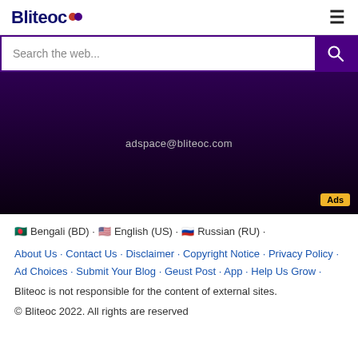Bliteoc
Search the web...
[Figure (infographic): Advertisement banner with dark purple-to-black gradient background showing email address adspace@bliteoc.com and an Ads badge in the bottom right corner.]
Bengali (BD) · English (US) · Russian (RU) ·
About Us · Contact Us · Disclaimer · Copyright Notice · Privacy Policy · Ad Choices · Submit Your Blog · Geust Post · App · Help Us Grow ·
Bliteoc is not responsible for the content of external sites.
© Bliteoc 2022. All rights are reserved